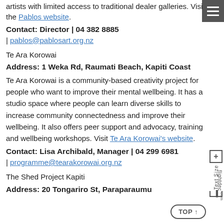artists with limited access to traditional dealer galleries. Visit the Pablos website.
Contact: Director | 04 382 8885 | pablos@pablosart.org.nz
Te Ara Korowai
Address: 1 Weka Rd, Raumati Beach, Kapiti Coast
Te Ara Korowai is a community-based creativity project for people who want to improve their mental wellbeing. It has a studio space where people can learn diverse skills to increase community connectedness and improve their wellbeing. It also offers peer support and advocacy, training and wellbeing workshops. Visit Te Ara Korowai's website.
Contact: Lisa Archibald, Manager | 04 299 6981 | programme@tearakorowai.org.nz
The Shed Project Kapiti
Address: 20 Tongariro St, Paraparaumu